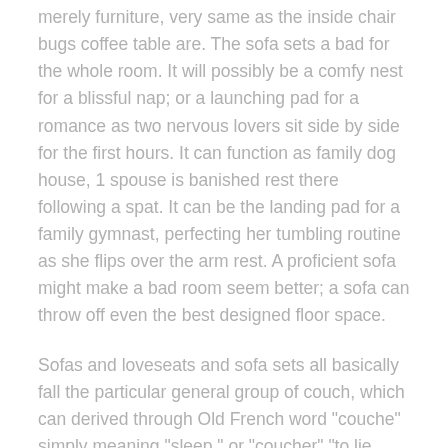merely furniture, very same as the inside chair bugs coffee table are. The sofa sets a bad for the whole room. It will possibly be a comfy nest for a blissful nap; or a launching pad for a romance as two nervous lovers sit side by side for the first hours. It can function as family dog house, 1 spouse is banished rest there following a spat. It can be the landing pad for a family gymnast, perfecting her tumbling routine as she flips over the arm rest. A proficient sofa might make a bad room seem better; a sofa can throw off even the best designed floor space.
Sofas and loveseats and sofa sets all basically fall the particular general group of couch, which can derived through Old French word "couche" simply meaning "sleep," or "coucher" "to lie straight." Although technically, a sofa loveseat set is for sitting up while a couch could be used for lying down.
You reason to decide along at the color theme and mood you want your entire house to end up with. For example, if you want a lightly colored, bright house, your furniture should be lightly colored as all right. Choose sofas that are either color white and